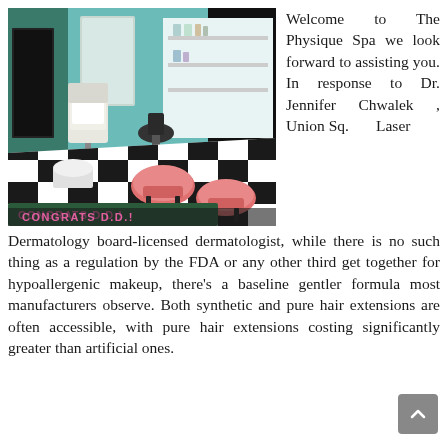[Figure (photo): A miniature diorama of a salon/spa interior with black-and-white checkered floor, salon chairs, mirror, and shelving. A banner at the front reads 'CONGRATS D.D.!']
Welcome to The Physique Spa we look forward to assisting you. In response to Dr. Jennifer Chwalek , Union Sq. Laser Dermatology board-licensed dermatologist, while there is no such thing as a regulation by the FDA or any other third get together for hypoallergenic makeup, there's a baseline gentler formula most manufacturers observe. Both synthetic and pure hair extensions are often accessible, with pure hair extensions costing significantly greater than artificial ones.